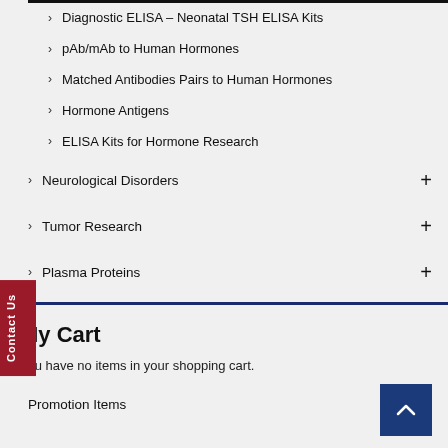Diagnostic ELISA – Neonatal TSH ELISA Kits
pAb/mAb to Human Hormones
Matched Antibodies Pairs to Human Hormones
Hormone Antigens
ELISA Kits for Hormone Research
Neurological Disorders
Tumor Research
Plasma Proteins
Shop By Product Type
Featured Products
Promotion Items
My Cart
You have no items in your shopping cart.